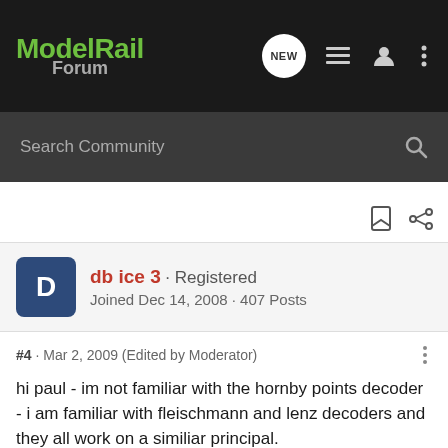[Figure (logo): ModelRail Forum logo in green and grey on dark background]
Search Community
db ice 3 · Registered
Joined Dec 14, 2008 · 407 Posts
#4 · Mar 2, 2009 (Edited by Moderator)
hi paul - im not familiar with the hornby points decoder - i am familiar with fleischmann and lenz decoders and they all work on a similiar principal.

on the german decoders, it is possible to adjust the length of the time the electrical pulse to the motor lasts for - does the instructions for the hornby decoder mention anything about